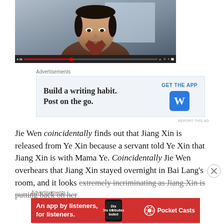[Figure (screenshot): Video player showing an Asian man's face in a brown jacket, with dark background and video control bar at bottom with red progress bar]
Advertisements
[Figure (screenshot): WordPress app advertisement: 'Build a writing habit. Post on the go.' with GET THE APP button and WordPress logo, light blue background]
REPORT THIS AD
Jie Wen coincidentally finds out that Jiang Xin is released from Ye Xin because a servant told Ye Xin that Jiang Xin is with Mama Ye. Coincidentally Jie Wen overhears that Jiang Xin stayed overnight in Bai Lang's room, and it looks extremely incriminating as Jiang Xin is putting back on her
Advertisements
[Figure (screenshot): Pocket Casts advertisement on red background: 'An app by listeners, for listeners.' with phone image showing app and Pocket Casts logo]